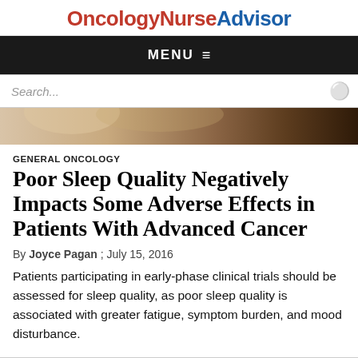OncologyNurseAdvisor
MENU
[Figure (photo): Partial photo showing a person, cropped at the top of the article]
GENERAL ONCOLOGY
Poor Sleep Quality Negatively Impacts Some Adverse Effects in Patients With Advanced Cancer
By Joyce Pagan ; July 15, 2016
Patients participating in early-phase clinical trials should be assessed for sleep quality, as poor sleep quality is associated with greater fatigue, symptom burden, and mood disturbance.